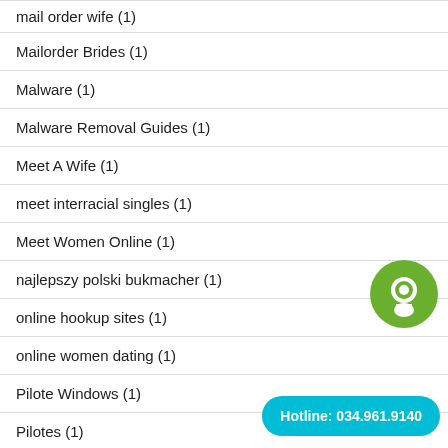mail order wife (1)
Mailorder Brides (1)
Malware (1)
Malware Removal Guides (1)
Meet A Wife (1)
meet interracial singles (1)
Meet Women Online (1)
najlepszy polski bukmacher (1)
online hookup sites (1)
online women dating (1)
Pilote Windows (1)
Pilotes (1)
[Figure (illustration): Green circular chat bubble icon with white person/speech mark inside]
Hotline: 034.961.9140